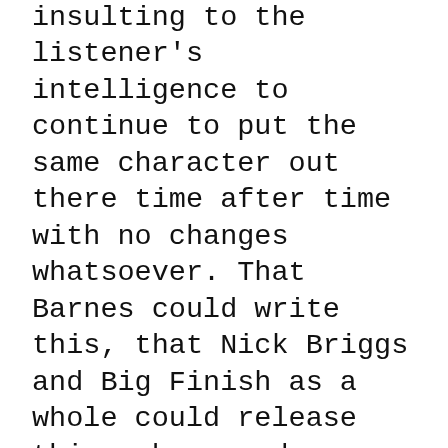insulting to the listener's intelligence to continue to put the same character out there time after time with no changes whatsoever. That Barnes could write this, that Nick Briggs and Big Finish as a whole could release this, shows a deep contempt for the audience: truly, we will buy any old crap with the Doctor Who logo on the front, and here's the proof.
	It's sad to say, but it feels like Doctor Who is dying. Not in terms of sales or ratings – those may be perfectly healthy – but in terms of the creativity and sense of invention that has always defined the series at its best. The books have, with few exceptions, been a creative wasteland since the return of the series to television, and Big Finish has gone steadily downhill in